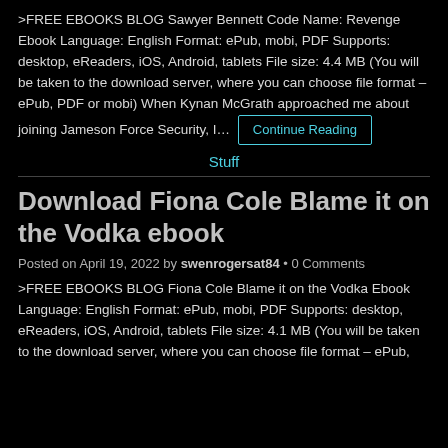>FREE EBOOKS BLOG Sawyer Bennett Code Name: Revenge Ebook Language: English Format: ePub, mobi, PDF Supports: desktop, eReaders, iOS, Android, tablets File size: 4.4 MB (You will be taken to the download server, where you can choose file format – ePub, PDF or mobi) When Kynan McGrath approached me about joining Jameson Force Security, I…
Continue Reading
Stuff
Download Fiona Cole Blame it on the Vodka ebook
Posted on April 19, 2022 by swenrogersat84 • 0 Comments
>FREE EBOOKS BLOG Fiona Cole Blame it on the Vodka Ebook Language: English Format: ePub, mobi, PDF Supports: desktop, eReaders, iOS, Android, tablets File size: 4.1 MB (You will be taken to the download server, where you can choose file format – ePub,